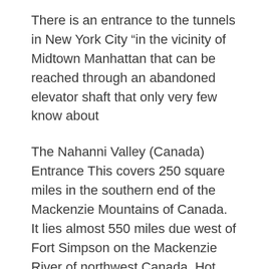There is an entrance to the tunnels in New York City “in the vicinity of Midtown Manhattan that can be reached through an abandoned elevator shaft that only very few know about
The Nahanni Valley (Canada) Entrance This covers 250 square miles in the southern end of the Mackenzie Mountains of Canada. It lies almost 550 miles due west of Fort Simpson on the Mackenzie River of northwest Canada. Hot springs and sulfur geysers keep the valley warmer than the surrounding areas by about 30 degrees year -round